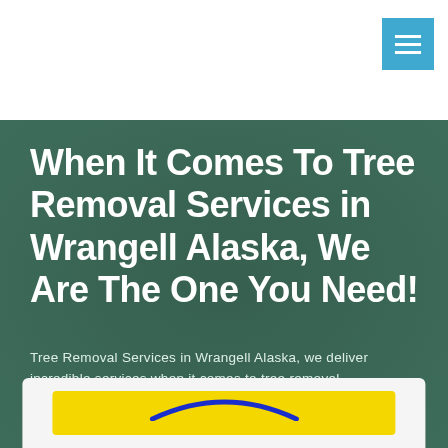When It Comes To Tree Removal Services in Wrangell Alaska, We Are The One You Need!
Tree Removal Services in Wrangell Alaska, we deliver incredible services when it comes to tree removal
[Figure (logo): Company logo with yellow background and blue arc/circle design at bottom of hero section]